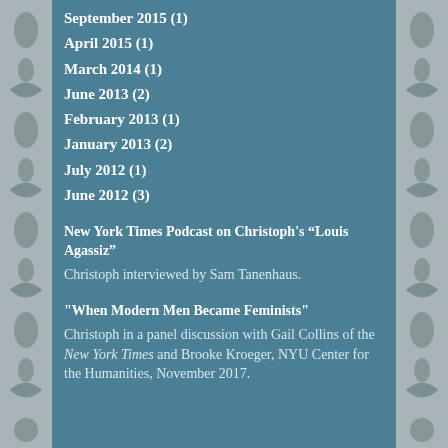September 2015 (1)
April 2015 (1)
March 2014 (1)
June 2013 (2)
February 2013 (1)
January 2013 (2)
July 2012 (1)
June 2012 (3)
New York Times Podcast on Christoph's “Louis Agassiz”
Christoph interviewed by Sam Tanenhaus.
"When Modern Men Became Feminists"
Christoph in a panel discussion with Gail Collins of the New York Times and Brooke Kroeger, NYU Center for the Humanities, November 2017.